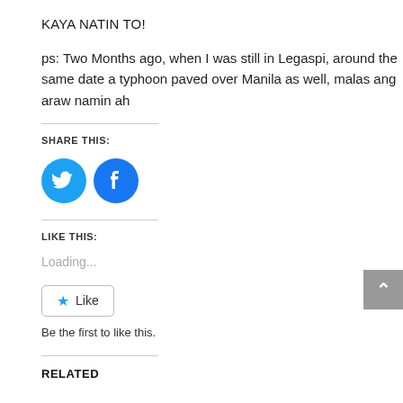KAYA NATIN TO!
ps: Two Months ago, when I was still in Legaspi, around the same date a typhoon paved over Manila as well, malas ang araw namin ah
SHARE THIS:
[Figure (illustration): Two circular social media share buttons: Twitter (blue bird icon) and Facebook (blue f icon)]
LIKE THIS:
Loading...
[Figure (illustration): A Like button with a star icon and the text Like]
Be the first to like this.
RELATED